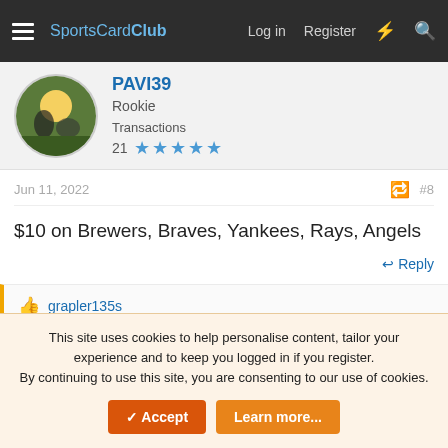SportsCardClub — Log in   Register
PAVI39
Rookie
Transactions
21 ★★★★★
Jun 11, 2022   #8
$10 on Brewers, Braves, Yankees, Rays, Angels
↩ Reply
👍 grapler135s
grapler135s
Hall of Fame   Staff member
This site uses cookies to help personalise content, tailor your experience and to keep you logged in if you register.
By continuing to use this site, you are consenting to our use of cookies.
✓ Accept   Learn more...